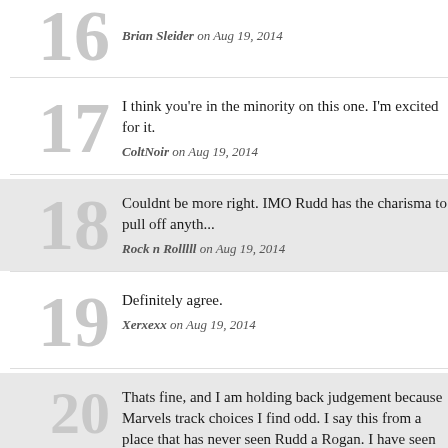16 — Brian Sleider on Aug 19, 2014
17 — I think you're in the minority on this one. I'm excited for it. — ColtNoir on Aug 19, 2014
18 — Couldnt be more right. IMO Rudd has the charisma to pull off anyth... — Rock n Rolllll on Aug 19, 2014
19 — Definitely agree. — Xerxexx on Aug 19, 2014
20 — Thats fine, and I am holding back judgement because Marvels track choices I find odd. I say this from a place that has never seen Rudd a Rogan. I have seen nothing from Rudd to convince me this is the did. SO I remain cautious but hopeful. — Brian Sleider on Aug 19, 2014